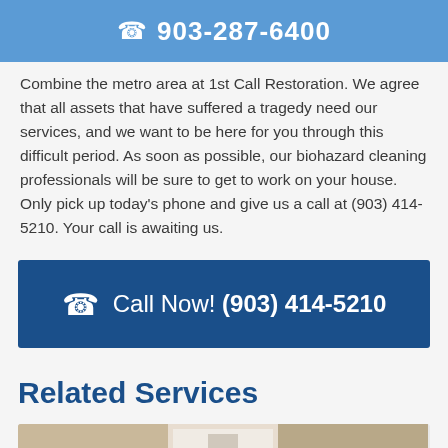903-287-6400
Combine the metro area at 1st Call Restoration. We agree that all assets that have suffered a tragedy need our services, and we want to be here for you through this difficult period. As soon as possible, our biohazard cleaning professionals will be sure to get to work on your house. Only pick up today's phone and give us a call at (903) 414-5210. Your call is awaiting us.
[Figure (infographic): Dark blue call-to-action banner with phone icon and text: Call Now! (903) 414-5210]
Related Services
[Figure (photo): Partial photo of a room interior, partially visible at bottom of page]